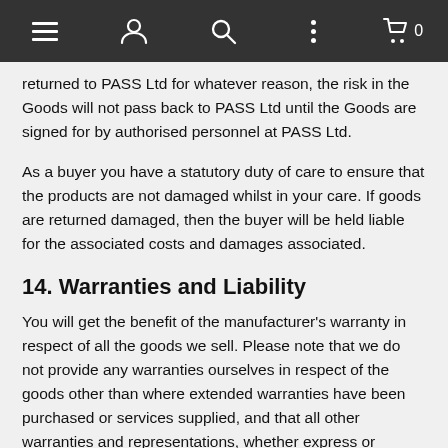Navigation bar with menu, account, search, more options, and cart (0) icons
returned to PASS Ltd for whatever reason, the risk in the Goods will not pass back to PASS Ltd until the Goods are signed for by authorised personnel at PASS Ltd.
As a buyer you have a statutory duty of care to ensure that the products are not damaged whilst in your care. If goods are returned damaged, then the buyer will be held liable for the associated costs and damages associated.
14. Warranties and Liability
You will get the benefit of the manufacturer's warranty in respect of all the goods we sell. Please note that we do not provide any warranties ourselves in respect of the goods other than where extended warranties have been purchased or services supplied, and that all other warranties and representations, whether express or implied, by statute, common law or of any other kind are hereby excluded to the maximum extent permitted by law. We may be willing however to supply you an additional top-up warranty to supplement the manufacturer's warranty.
Any extended warranty provided by PASS Ltd is subject to the extended warranty conditions available separately except in respect of death or